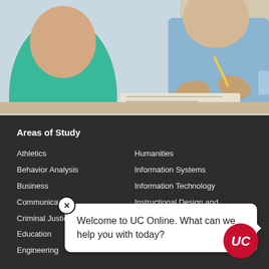[Figure (photo): Two people in a meeting/consultation setting — one person in a green top, another in a blue shirt holding a pencil, gesturing over notes on a desk]
Areas of Study
Athletics
Behavior Analysis
Business
Communication
Criminal Justice
Education
Engineering
Humanities
Information Systems
Information Technology
Instructional Design and
Nursing
Welcome to UC Online. What can we help you with today?